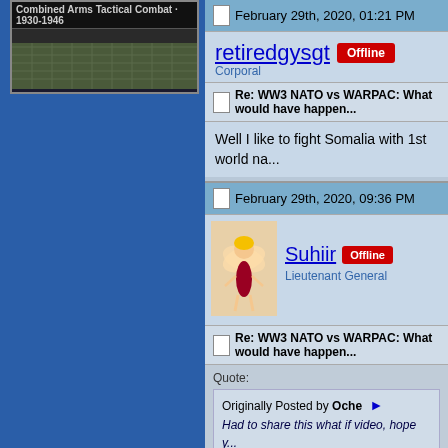[Figure (screenshot): Game box art for Combined Arms Tactical Combat 1930-1946]
February 29th, 2020, 01:21 PM
retiredgysgt [Offline] Corporal
Re: WW3 NATO vs WARPAC: What would have happen...
Well I like to fight Somalia with 1st world na...
February 29th, 2020, 09:36 PM
[Figure (illustration): Tinker Bell fairy avatar for user Suhiir]
Suhiir [Offline] Lieutenant General
Re: WW3 NATO vs WARPAC: What would have happen...
Quote: Originally Posted by Oche - Had to share this what if video, hope y...
I really have to wonder how long the Sovie... strikes I think their front lines would get ha...